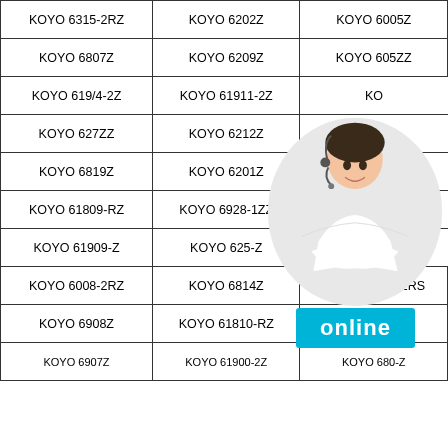| KOYO 6315-2RZ | KOYO 6202Z | KOYO 6005Z |
| KOYO 6807Z | KOYO 6209Z | KOYO 605ZZ |
| KOYO 619/4-2Z | KOYO 61911-2Z | KO... |
| KOYO 627ZZ | KOYO 6212Z | K... |
| KOYO 6819Z | KOYO 6201Z | K... |
| KOYO 61809-RZ | KOYO 6928-1ZZ | K... |
| KOYO 61909-Z | KOYO 625-Z | KO... online |
| KOYO 6008-2RZ | KOYO 6814Z | KOYO 61905-2RS |
| KOYO 6908Z | KOYO 61810-RZ | KOYO 6806Z |
| KOYO ... | KOYO 61800-2Z | KOYO 680... |
[Figure (photo): Customer service representative (woman with headset) with cyan 'online' button overlay]